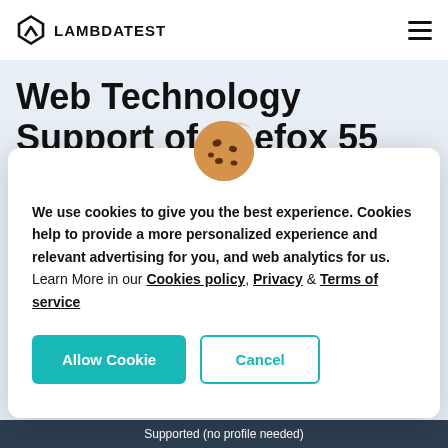LAMBDATEST
Web Technology Support of Firefox 55
To create a automatic testing strategy for
[Figure (illustration): Cookie emoji icon — a round brown cookie with chocolate chip bites taken out]
We use cookies to give you the best experience. Cookies help to provide a more personalized experience and relevant advertising for you, and web analytics for us. Learn More in our Cookies policy, Privacy & Terms of service
Allow Cookie    Cancel
Supported (no profile needed)